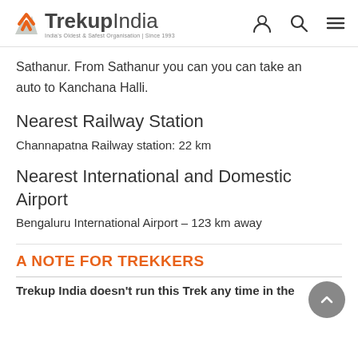TrekupIndia — India's Oldest & Safest Organisation | Since 1993
Sathanur. From Sathanur you can you can take an auto to Kanchana Halli.
Nearest Railway Station
Channapatna Railway station: 22 km
Nearest International and Domestic Airport
Bengaluru International Airport – 123 km away
A NOTE FOR TREKKERS
Trekup India doesn't run this Trek any time in the